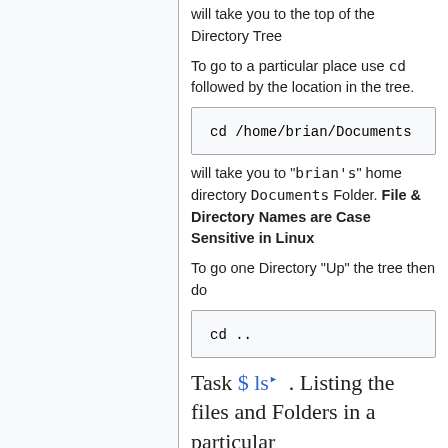will take you to the top of the Directory Tree
To go to a particular place use cd followed by the location in the tree.
cd /home/brian/Documents
will take you to "brian's" home directory Documents Folder. File & Directory Names are Case Sensitive in Linux
To go one Directory "Up" the tree then do
cd ..
Task $ ls. Listing the files and Folders in a particular place